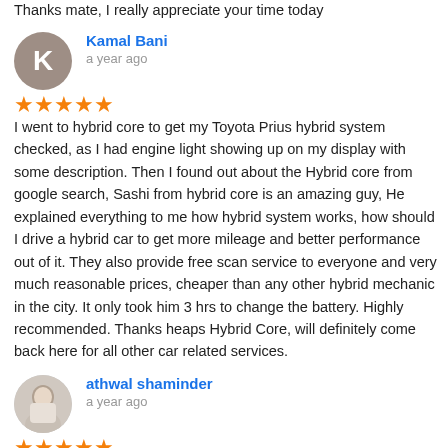Thanks mate, I really appreciate your time today
Kamal Bani
a year ago
★★★★★ I went to hybrid core to get my Toyota Prius hybrid system checked, as I had engine light showing up on my display with some description. Then I found out about the Hybrid core from google search, Sashi from hybrid core is an amazing guy, He explained everything to me how hybrid system works, how should I drive a hybrid car to get more mileage and better performance out of it. They also provide free scan service to everyone and very much reasonable prices, cheaper than any other hybrid mechanic in the city. It only took him 3 hrs to change the battery. Highly recommended. Thanks heaps Hybrid Core, will definitely come back here for all other car related services.
athwal shaminder
a year ago
★★★★★ Replaced my Toyota Camry hybrid battery..With 24 onths Unlimited kilometers warranty.